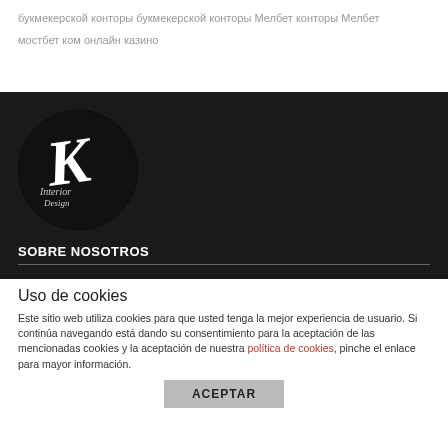букмекерской конторы букмекерской конторы Мелбет конторы Мелбет мостбет ком онлайн казино
[Figure (logo): K Interior Design logo — circular black badge with stylized italic K and cursive text 'Interior Design']
SOBRE NOSOTROS
Uso de cookies
Este sitio web utiliza cookies para que usted tenga la mejor experiencia de usuario. Si continúa navegando está dando su consentimiento para la aceptación de las mencionadas cookies y la aceptación de nuestra política de cookies, pinche el enlace para mayor información.